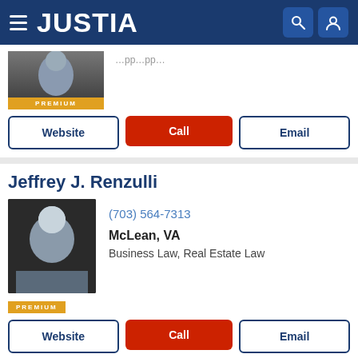JUSTIA
[Figure (photo): Partial attorney photo with PREMIUM badge]
Website | Call | Email
Jeffrey J. Renzulli
[Figure (photo): Headshot of Jeffrey J. Renzulli, smiling man in suit]
(703) 564-7313
McLean, VA
Business Law, Real Estate Law
PREMIUM
Website | Call | Email
Matthew C. Perushek
[Figure (photo): Headshot of Matthew C. Perushek, young man in suit]
(703) 925-0500
Fairfax, VA